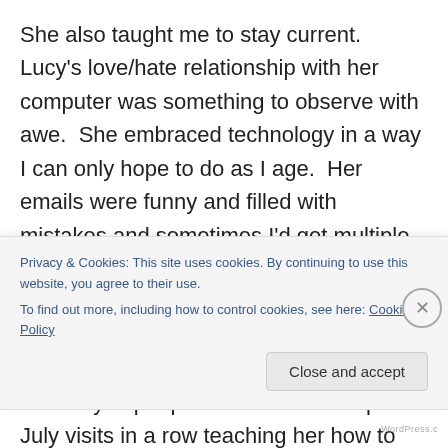She also taught me to stay current.  Lucy's love/hate relationship with her computer was something to observe with awe.  She embraced technology in a way I can only hope to do as I age.  Her emails were funny and filled with mistakes and sometimes I'd get multiple emails in a day with no content or that were meant for other people.  She struggled her way up the learning curve when the internet exploded, but she basically kept up.  I remember multiple July visits in a row teaching her how to copy and paste and later finding the instructions in her own handwriting t...
Privacy & Cookies: This site uses cookies. By continuing to use this website, you agree to their use.
To find out more, including how to control cookies, see here: Cookie Policy
Close and accept